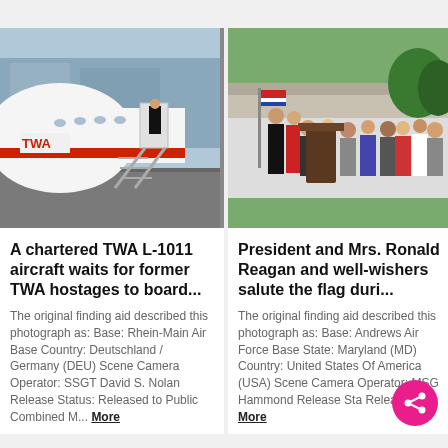[Figure (photo): A chartered TWA L-1011 aircraft on tarmac with stairs deployed and a figure standing at the door]
[Figure (photo): President and Mrs. Ronald Reagan standing at a podium with well-wishers saluting the flag, outdoors with a crowd behind them]
A chartered TWA L-1011 aircraft waits for former TWA hostages to board...
President and Mrs. Ronald Reagan and well-wishers salute the flag duri...
The original finding aid described this photograph as: Base: Rhein-Main Air Base Country: Deutschland / Germany (DEU) Scene Camera Operator: SSGT David S. Nolan Release Status: Released to Public Combined M... More
The original finding aid described this photograph as: Base: Andrews Air Force Base State: Maryland (MD) Country: United States Of America (USA) Scene Camera Operator: MSG Hammond Release Sta Released... More